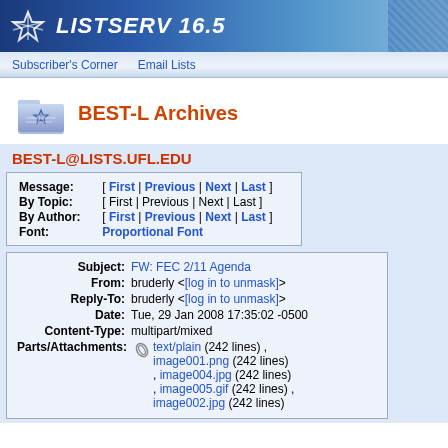LISTSERV 16.5
Subscriber's Corner   Email Lists
BEST-L Archives
BEST-L@LISTS.UFL.EDU
Message: [ First | Previous | Next | Last ]
By Topic: [ First | Previous | Next | Last ]
By Author: [ First | Previous | Next | Last ]
Font: Proportional Font
| Subject: | FW: FEC 2/11 Agenda |
| From: | bruderly <[log in to unmask]> |
| Reply-To: | bruderly <[log in to unmask]> |
| Date: | Tue, 29 Jan 2008 17:35:02 -0500 |
| Content-Type: | multipart/mixed |
| Parts/Attachments: | text/plain (242 lines) , image001.png (242 lines) , image004.jpg (242 lines) , image005.gif (242 lines) , image002.jpg (242 lines) |